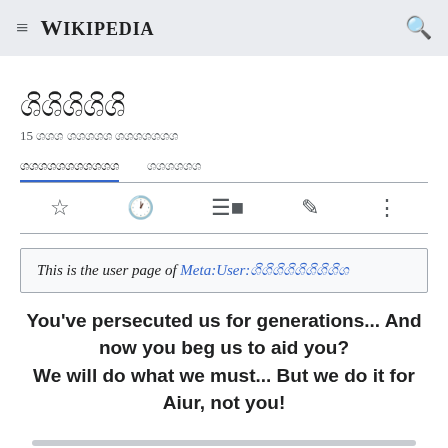Wikipedia
ශිශිශිශිශි
15 ශශශ ශශශශශ ශශශශශශශ
ශශශශශශශශශශශ   ශශශශශශ
This is the user page of Meta:User:ශිශිශිශිශිශිශිශිශ
You've persecuted us for generations... And now you beg us to aid you?
We will do what we must... But we do it for Aiur, not you!